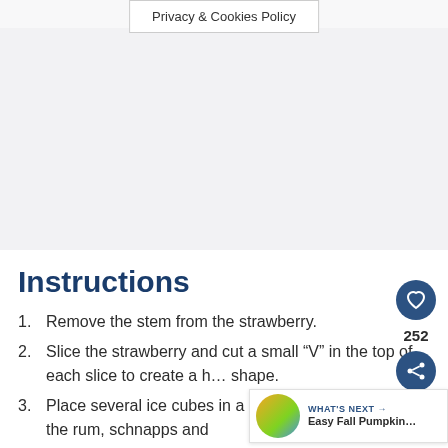Privacy & Cookies Policy
Instructions
Remove the stem from the strawberry.
Slice the strawberry and cut a small “V” in the top of each slice to create a h… shape.
Place several ice cubes in a cocktail shaker and add the rum, schnapps and